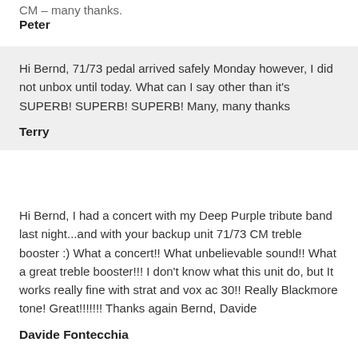CM – many thanks.
Peter
Hi Bernd, 71/73 pedal arrived safely Monday however, I did not unbox until today. What can I say other than it's SUPERB! SUPERB! SUPERB! Many, many thanks
Terry
Hi Bernd, I had a concert with my Deep Purple tribute band last night...and with your backup unit 71/73 CM treble booster :) What a concert!! What unbelievable sound!! What a great treble booster!!! I don't know what this unit do, but It works really fine with strat and vox ac 30!! Really Blackmore tone! Great!!!!!!! Thanks again Bernd, Davide
Davide Fontecchia